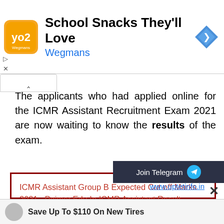[Figure (other): Advertisement banner for Wegmans: School Snacks They'll Love, with logo and navigation arrow]
The applicants who had applied online for the ICMR Assistant Recruitment Exam 2021 are now waiting to know the results of the exam.
[Figure (other): Join Telegram button widget, dark background with Telegram icon]
ICMR Assistant Group B Expected Cut off Marks 2021 , Pgimer.Edu.In ICMR Assistant Result
www.uptetinfo.in
[Figure (other): Bottom advertisement bar: Save Up To $110 On New Tires]